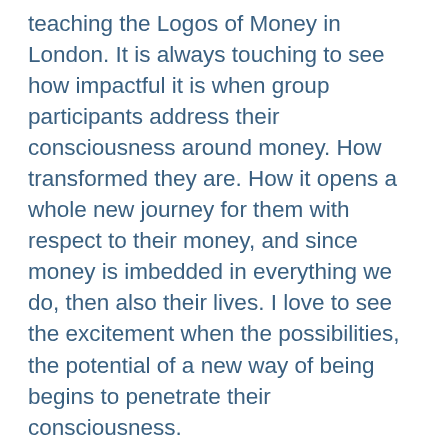teaching the Logos of Money in London. It is always touching to see how impactful it is when group participants address their consciousness around money. How transformed they are. How it opens a whole new journey for them with respect to their money, and since money is imbedded in everything we do, then also their lives. I love to see the excitement when the possibilities, the potential of a new way of being begins to penetrate their consciousness.
But this time I was aware of something else. The energy of the field, the consciousness that we were creating. This is not a new concept or